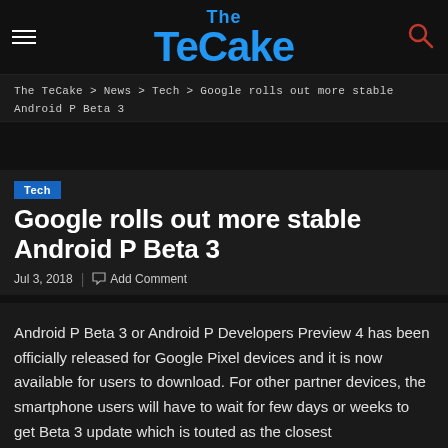The TeCake
The TeCake > News > Tech > Google rolls out more stable Android P Beta 3
Tech
Google rolls out more stable Android P Beta 3
Jul 3, 2018 | Add Comment
Android P Beta 3 or Android P Developers Preview 4 has been officially released for Google Pixel devices and it is now available for users to download. For other partner devices, the smartphone users will have to wait for few days or weeks to get Beta 3 update which is touted as the closest